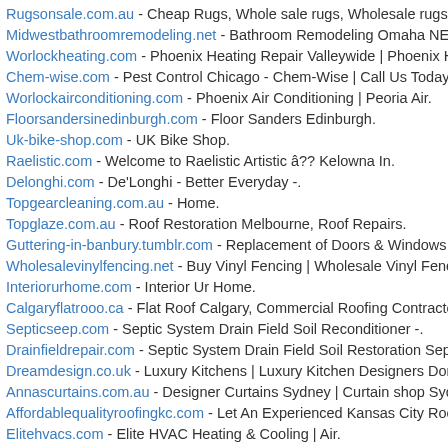Rugsonsale.com.au - Cheap Rugs, Whole sale rugs, Wholesale rugs.
Midwestbathroomremodeling.net - Bathroom Remodeling Omaha NE | Ba
Worlockheating.com - Phoenix Heating Repair Valleywide | Phoenix HVAC
Chem-wise.com - Pest Control Chicago - Chem-Wise | Call Us Today.
Worlockairconditioning.com - Phoenix Air Conditioning | Peoria Air.
Floorsandersinedinburgh.com - Floor Sanders Edinburgh.
Uk-bike-shop.com - UK Bike Shop.
Raelistic.com - Welcome to Raelistic Artistic â?? Kelowna In.
Delonghi.com - De'Longhi - Better Everyday -.
Topgearcleaning.com.au - Home.
Topglaze.com.au - Roof Restoration Melbourne, Roof Repairs.
Guttering-in-banbury.tumblr.com - Replacement of Doors & Windows in B
Wholesalevinylfencing.net - Buy Vinyl Fencing | Wholesale Vinyl Fence | V
Interiorurhome.com - Interior Ur Home.
Calgaryflatrooo.ca - Flat Roof Calgary, Commercial Roofing Contractor.
Septicseep.com - Septic System Drain Field Soil Reconditioner -.
Drainfieldrepair.com - Septic System Drain Field Soil Restoration Septic.
Dreamdesign.co.uk - Luxury Kitchens | Luxury Kitchen Designers Dorset.
Annascurtains.com.au - Designer Curtains Sydney | Curtain shop Sydney
Affordablequalityroofingkc.com - Let An Experienced Kansas City Roofing
Elitehvacs.com - Elite HVAC Heating & Cooling | Air.
Dlivingstondesign.com - Interior Designer, Interior Decorator, Los.
Rotherhamelectrician.net - Welcome to Ryan Askew Electrical Services L
Canadianspacompany.ca - Hot Tubs, Swim Spas, Hot tub, Sauna, Cana